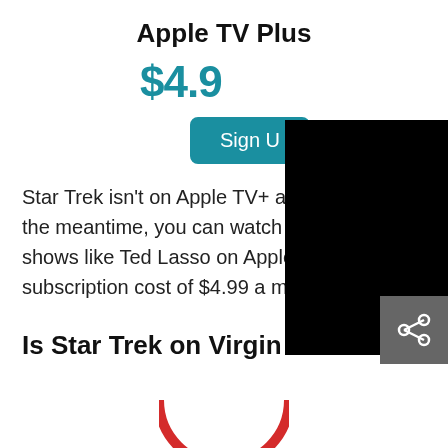Apple TV Plus
$4.9[obscured]
[Figure (other): Sign Up button (teal/cyan colored button, partially obscured by black overlay)]
[Figure (other): Black redaction overlay covering right portion of price, sign-up area, and upper right]
Star Trek isn't on Apple TV+ at [obscured], in the meantime, you can watch top-rated shows like Ted Lasso on Apple TV with a subscription cost of $4.99 a month.
[Figure (other): Share icon button (dark grey square with share/network icon)]
Is Star Trek on Virgin TV Go?
[Figure (logo): Partial red circular logo at the bottom of the page]